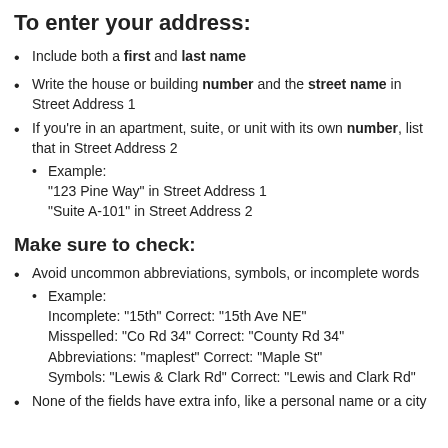To enter your address:
Include both a first and last name
Write the house or building number and the street name in Street Address 1
If you're in an apartment, suite, or unit with its own number, list that in Street Address 2
Example: "123 Pine Way" in Street Address 1 "Suite A-101" in Street Address 2
Make sure to check:
Avoid uncommon abbreviations, symbols, or incomplete words
Example: Incomplete: "15th" Correct: "15th Ave NE" Misspelled: "Co Rd 34" Correct: "County Rd 34" Abbreviations: "maplest" Correct: "Maple St" Symbols: "Lewis & Clark Rd" Correct: "Lewis and Clark Rd"
None of the fields have extra info, like a personal name or a city